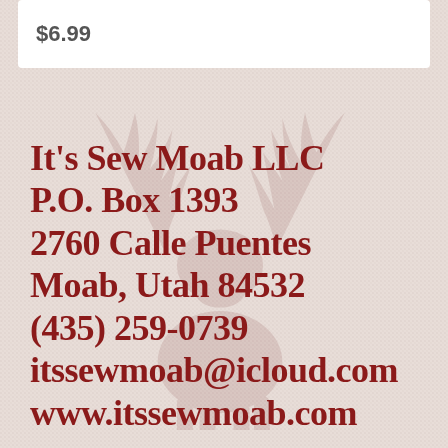$6.99
It's Sew Moab LLC
P.O. Box 1393
2760 Calle Puentes
Moab, Utah 84532
(435) 259-0739
itssewmoab@icloud.com
www.itssewmoab.com